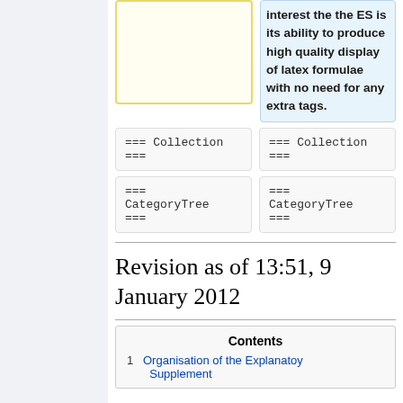[Figure (screenshot): Two-column comparison view. Left cell is a yellow-bordered box (empty content area). Right cell has light blue background with bold text: 'interest the the ES is its ability to produce high quality display of latex formulae with no need for any extra tags.']
=== Collection ===
=== Collection ===
=== CategoryTree ===
=== CategoryTree ===
Revision as of 13:51, 9 January 2012
| Contents |
| --- |
| 1  Organisation of the Explanatoy Supplement |